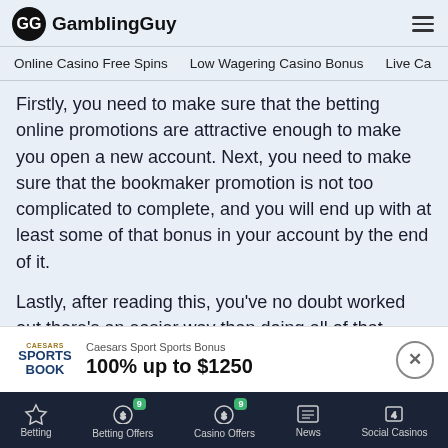GamblingGuy
Online Casino Free Spins  Low Wagering Casino Bonus  Live Ca
Firstly, you need to make sure that the betting online promotions are attractive enough to make you open a new account. Next, you need to make sure that the bookmaker promotion is not too complicated to complete, and you will end up with at least some of that bonus in your account by the end of it.
Lastly, after reading this, you've no doubt worked out there's an easier way than doing all of that yourself.
Using Gambling Guy to present you with a shortlist of reliable
Caesars Sport Sports Bonus
100% up to $1250
Betting  Betting Offers 9  Casino Offers 9  News  Social Casinos